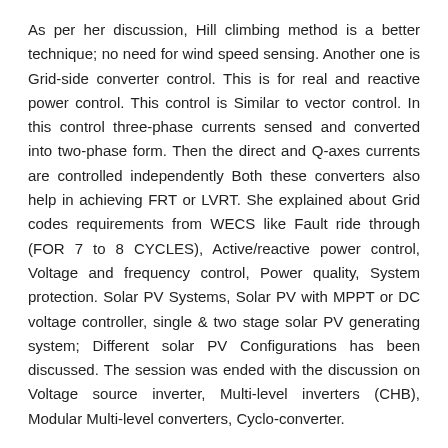As per her discussion, Hill climbing method is a better technique; no need for wind speed sensing. Another one is Grid-side converter control. This is for real and reactive power control. This control is Similar to vector control. In this control three-phase currents sensed and converted into two-phase form. Then the direct and Q-axes currents are controlled independently Both these converters also help in achieving FRT or LVRT. She explained about Grid codes requirements from WECS like Fault ride through (FOR 7 to 8 CYCLES), Active/reactive power control, Voltage and frequency control, Power quality, System protection. Solar PV Systems, Solar PV with MPPT or DC voltage controller, single & two stage solar PV generating system; Different solar PV Configurations has been discussed. The session was ended with the discussion on Voltage source inverter, Multi-level inverters (CHB), Modular Multi-level converters, Cyclo-converter.